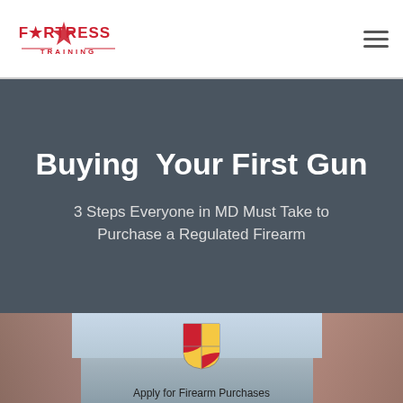Fortress Training
Buying Your First Gun
3 Steps Everyone in MD Must Take to Purchase a Regulated Firearm
[Figure (photo): Exterior photo of a Maryland government building with brick architecture and the Maryland state shield logo, with text 'Apply for Firearm Purchases']